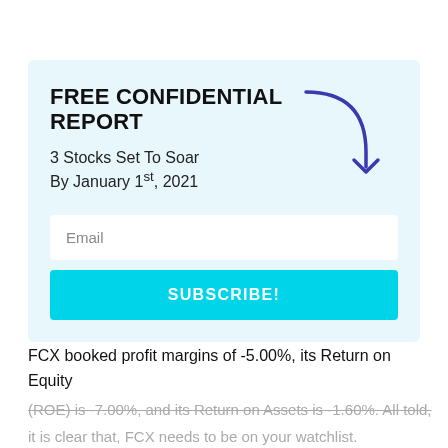FREE CONFIDENTIAL REPORT
3 Stocks Set To Soar By January 1st, 2021
[Figure (illustration): Hand-drawn curved arrow pointing downward-right in dark blue/purple color]
Email
SUBSCRIBE!
FCX booked profit margins of -5.00%, its Return on Equity (ROE) is -7.00%, and its Return on Assets is -1.60%. All told, it is clear that, FCX needs to be on your watchlist.